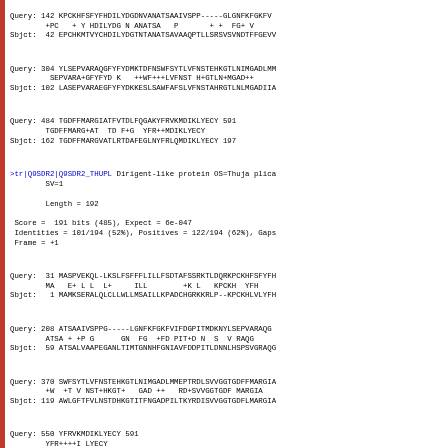Query: 142 KPCKHFSFYFHDILYDGDNVANATSAAIVSPP-----GLGNFKFGKFV
        +PC   + Y HDILYDG N ANATSA   P       + +  FG+ V
Sbjct:  42 EPCHKMTVYCHDILYDGTNTANATSAVAAQPTLLSRSVSVNDTFFGEVV
Query: 304 YLSEPVARAQGFYFYDMKTDFNSWFSYTLVFNSTEHKGTLNIMGADLMM
         SEPVARA+GFYFYD K   ++WF+++LVFNST H+GTLN+MGAD++ 
Sbjct: 102 LASEPVARAEGFYFYDKKESLSAWFAFSLVFNSTAHRGTLNLMGADIIA
Query: 484 TGDFFMARGIATFVTDLFQGAKYFRVKMDIKLYECY 591
        TGDFFMARG+AT  TD F+G  YFR++MDIKLYECY
Sbjct: 162 TGDFFMARGVATLRTDAFEGLNYFRLQMDIKLYECY 197
>tr|Q9SDR2|Q9SDR2_THUPL Dirigent-like protein OS=Thuja plica
        SV=1

        Length = 192

 Score =  191 bits (485), Expect = 6e-047
 Identities = 101/194 (52%), Positives = 122/194 (62%), Gaps
 Frame = +1
Query:  31 MASPVEKQL-LKSLFSFFFLILLFSDTAFSSRKTLDQRKPCKHFSFYFH
        MA   E+ L L  L+     ILL        +K L   KPCKH  YFH
Sbjct:   1 MAMKSERALQLCLLWLLMSAILLKPADCHGRKKRLP--KPCKHLVLYFH
Query: 208 ATSAAIVSPPG-----LGNFKFGKFVIFDGPITMDKNYLSEPVARAQG
        ATSA + +P G      GN  FG  +FD PIT+D N  S  V RAQG
Sbjct:  59 ATSALVAAPEGANLTIMTGNNHFGNIAVFDDPITLDNNLHSPSVGRAQG
Query: 370 SWFSYTLVFNSTEHKGTLNIMGADLMMEPTRDLSVVGGTGDFFMARGIA
        +W  +T V NST+HKGT+   GAD ++   RD+SVVGGTGDF MARGIA
Sbjct: 119 AWLGFTFVLNSTDHKGTITFNGADPILTKYRDISVVGGTGDFLMARGIA
Query: 550 YFRVKMDIKLYECY 591
        YFR++++I LYECY
Sbjct: 179 YFRLRVNITLYECY 192
>tr|B7FHC7|B7FHC7_MEDTR Putative uncharacterized protein OS=
        PE=2 SV=1

        Length = 189